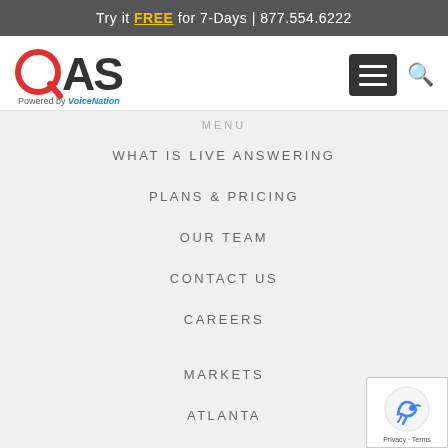Try it FREE for 7-Days | 877.554.6222
[Figure (logo): QAS logo with red circle Q and dark AS text, Powered by VoiceNation below]
WHAT IS LIVE ANSWERING
PLANS & PRICING
OUR TEAM
CONTACT US
CAREERS
MARKETS
ATLANTA
NEW YORK